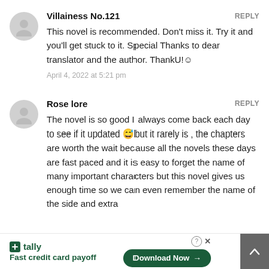Villainess No.121
REPLY
This novel is recommended. Don't miss it. Try it and you'll get stuck to it. Special Thanks to dear translator and the author. ThankU!☺
April 4, 2022 at 5:21 pm
Rose lore
REPLY
The novel is so good I always come back each day to see if it updated 😅but it rarely is , the chapters are worth the wait because all the novels these days are fast paced and it is easy to forget the name of many important characters but this novel gives us enough time so we can even remember the name of the side and extra
[Figure (infographic): Tally app advertisement banner: 'Fast credit card payoff' with Download Now button]